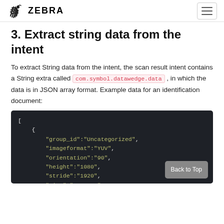ZEBRA
3. Extract string data from the intent
To extract String data from the intent, the scan result intent contains a String extra called com.symbol.datawedge.data, in which the data is in JSON array format. Example data for an identification document:
[Figure (screenshot): Code block showing JSON array with fields: group_id:"Uncategorized", imageformat:"YUV", orientation:"90", height:"1080", stride:"1920", size:"4147198"]